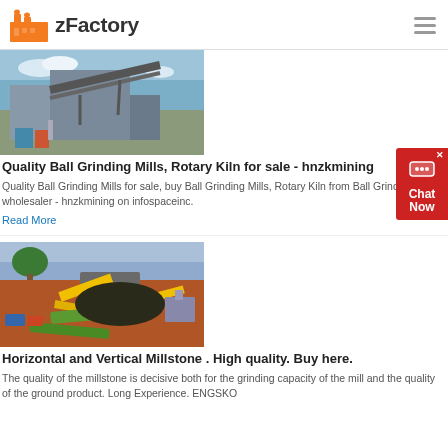zFactory
[Figure (photo): Industrial mining/processing equipment with conveyor belts and steel framework under blue sky]
Quality Ball Grinding Mills, Rotary Kiln for sale - hnzkmining
Quality Ball Grinding Mills for sale, buy Ball Grinding Mills, Rotary Kiln from Ball Grinding Mills wholesaler - hnzkmining on infospaceinc.
Read More
[Figure (photo): Open-pit mining operation with yellow excavators and conveyors on red earth terrain]
Horizontal and Vertical Millstone . High quality. Buy here.
The quality of the millstone is decisive both for the grinding capacity of the mill and the quality of the ground product. Long Experience. ENGSKO